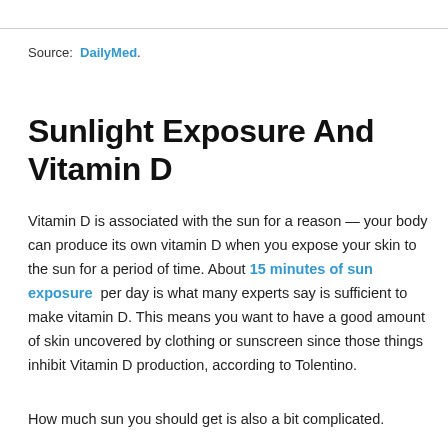Source: DailyMed.
Sunlight Exposure And Vitamin D
Vitamin D is associated with the sun for a reason — your body can produce its own vitamin D when you expose your skin to the sun for a period of time. About 15 minutes of sun exposure per day is what many experts say is sufficient to make vitamin D. This means you want to have a good amount of skin uncovered by clothing or sunscreen since those things inhibit Vitamin D production, according to Tolentino.
How much sun you should get is also a bit complicated.